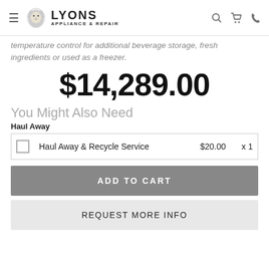Lyons Appliance & Repair - navigation header with hamburger menu, logo, search, cart, and phone icons
temperature control for additional beverage storage, fresh ingredients or used as a freezer.
$14,289.00
You Might Also Need
Haul Away
|  | Service | Price | Qty |
| --- | --- | --- | --- |
| ☐ | Haul Away & Recycle Service | $20.00 | x 1 |
ADD TO CART
REQUEST MORE INFO